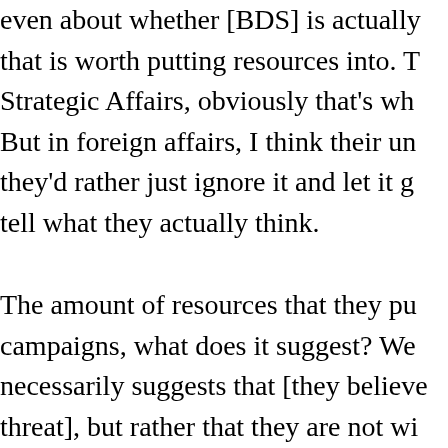even about whether [BDS] is actually that is worth putting resources into. T Strategic Affairs, obviously that's wh But in foreign affairs, I think their un they'd rather just ignore it and let it g tell what they actually think.
The amount of resources that they pu campaigns, what does it suggest? We necessarily suggests that [they believ threat], but rather that they are not wi Palestinian sentiment to become acce discourse. My impression is that it is li